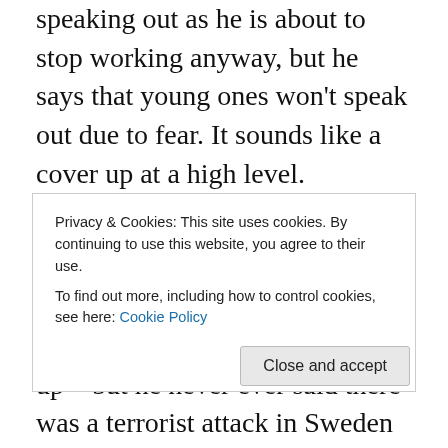speaking out as he is about to stop working anyway, but he says that young ones won't speak out due to fear. It sounds like a cover up at a high level.
So what are the other newspapers reporting? Stuff news in New Zealand is still on about the terrorist attack that Trump made up – but he never ever said there was a terrorist attack in Sweden http://www.stuff.co.nz/world/europe/89826504/sweden-puzzled-a-second-time-after-unknown-security-adviser-defends-donald-trump. Apparently the new scandal is Fox interviewed a person and they gave him
Privacy & Cookies: This site uses cookies. By continuing to use this website, you agree to their use.
To find out more, including how to control cookies, see here: Cookie Policy
(made up by the media) terrorist attack. Whilst Fox got the